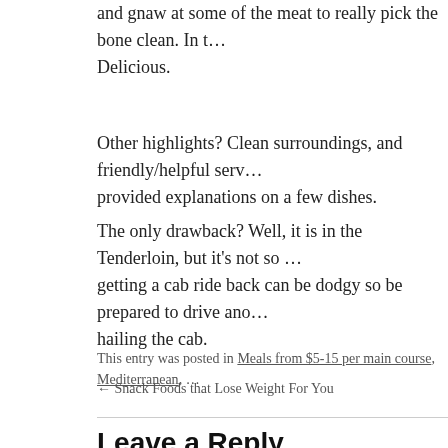and gnaw at some of the meat to really pick the bone clean. In t… Delicious.
Other highlights? Clean surroundings, and friendly/helpful serv… provided explanations on a few dishes.
The only drawback? Well, it is in the Tenderloin, but it's not so … getting a cab ride back can be dodgy so be prepared to drive and… hailing the cab.
This entry was posted in Meals from $5-15 per main course, Mediterranean, …
← Snack Foods that Lose Weight For You
Leave a Reply
Your email address will not be published. Required fields are m…
Anti-spam word: (Required)*